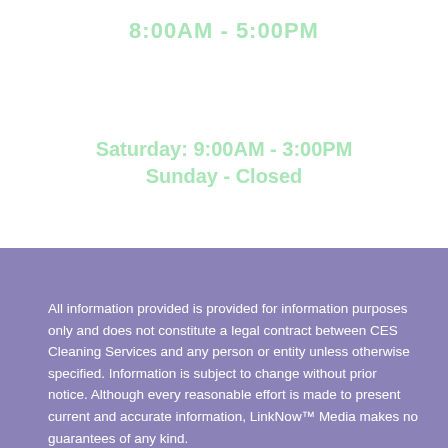8:00AM - 5:00PM
Saturday: 9:00AM - 3:00PM
Sunday - Closed
All information provided is provided for information purposes only and does not constitute a legal contract between CES Cleaning Services and any person or entity unless otherwise specified. Information is subject to change without prior notice. Although every reasonable effort is made to present current and accurate information, LinkNow™ Media makes no guarantees of any kind.